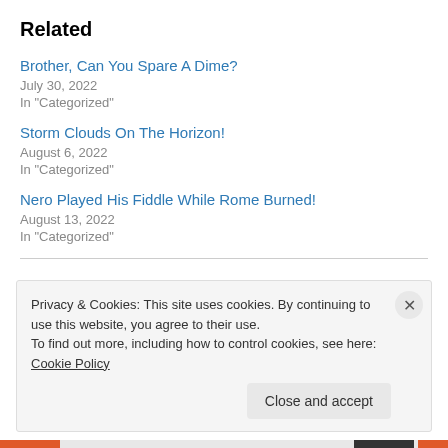Related
Brother, Can You Spare A Dime?
July 30, 2022
In "Categorized"
Storm Clouds On The Horizon!
August 6, 2022
In "Categorized"
Nero Played His Fiddle While Rome Burned!
August 13, 2022
In "Categorized"
Privacy & Cookies: This site uses cookies. By continuing to use this website, you agree to their use.
To find out more, including how to control cookies, see here: Cookie Policy